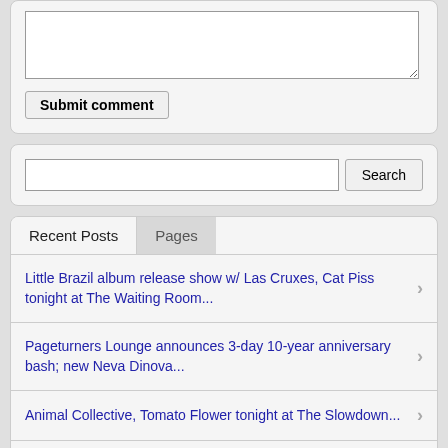[Figure (screenshot): Comment text area input field]
Submit comment
[Figure (screenshot): Search input field with Search button]
Recent Posts
Pages
Little Brazil album release show w/ Las Cruxes, Cat Piss tonight at The Waiting Room...
Pageturners Lounge announces 3-day 10-year anniversary bash; new Neva Dinova...
Animal Collective, Tomato Flower tonight at The Slowdown...
Glow in the Dark tonight; Bad Self Portraits, Pagan Athletes Saturday...